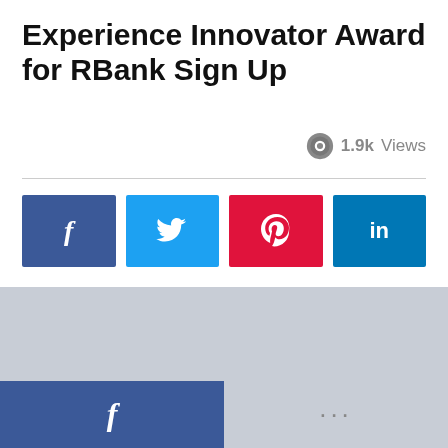Experience Innovator Award for RBank Sign Up
1.9k Views
[Figure (screenshot): Social sharing buttons: Facebook (dark blue), Twitter (light blue), Pinterest (red), LinkedIn (dark blue)]
[Figure (screenshot): Embedded content area with share button and bottom navigation bar showing Facebook and more options]